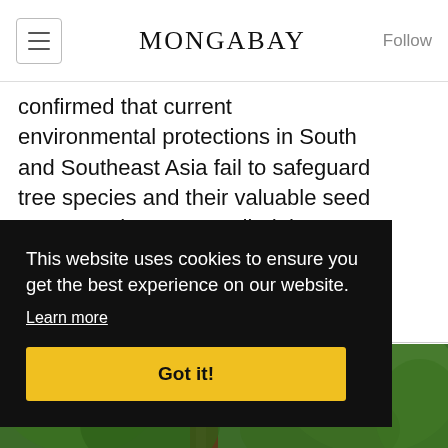MONGABAY
confirmed that current environmental protections in South and Southeast Asia fail to safeguard tree species and their valuable seed sources. The team studied the...
[Figure (photo): Looking up at a tall tropical tree from below, surrounded by green forest canopy and blue sky]
This website uses cookies to ensure you get the best experience on our website. Learn more  Got it!